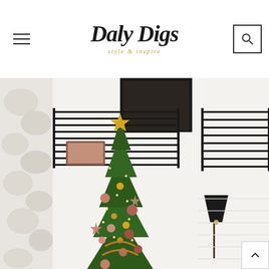[Figure (logo): Daly Digs logo with script font and tagline 'style & inspire' in gold]
[Figure (photo): Interior home photo showing a decorated Christmas tree with gold and pink ornaments, black metal stair railing, white textured stone wall, and a lamp visible on the right side]